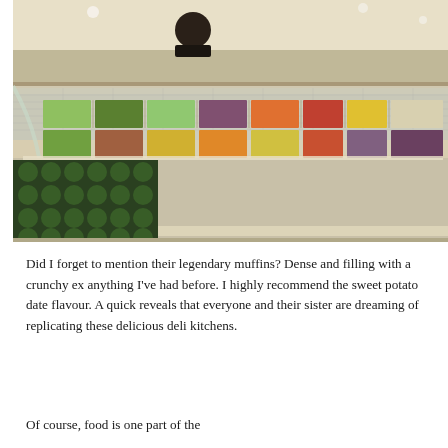[Figure (photo): A salad bar with many metal trays filled with colorful fresh vegetables and toppings. The counter has a curved glass sneeze guard on top and a decorative green circular pattern on the lower front panel. Various ingredients including green leafy vegetables, red peppers, corn, tomatoes, and other toppings are visible in the steel containers.]
Did I forget to mention their legendary muffins? Dense and filling with a crunchy ex anything I've had before. I highly recommend the sweet potato date flavour. A quick reveals that everyone and their sister are dreaming of replicating these delicious deli kitchens.
Of course, food is one part of the...